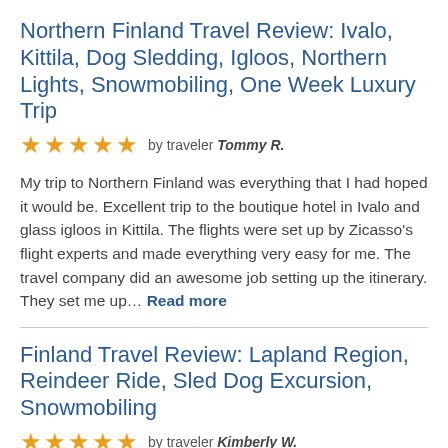Northern Finland Travel Review: Ivalo, Kittila, Dog Sledding, Igloos, Northern Lights, Snowmobiling, One Week Luxury Trip
★★★★★ by traveler Tommy R.
My trip to Northern Finland was everything that I had hoped it would be. Excellent trip to the boutique hotel in Ivalo and glass igloos in Kittila. The flights were set up by Zicasso's flight experts and made everything very easy for me. The travel company did an awesome job setting up the itinerary. They set me up... Read more
Finland Travel Review: Lapland Region, Reindeer Ride, Sled Dog Excursion, Snowmobiling
★★★★★ by traveler Kimberly W.